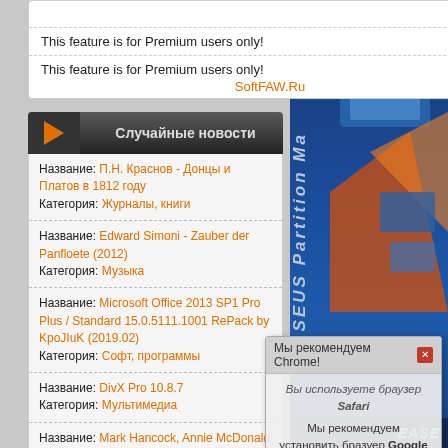This feature is for Premium users only!
This feature is for Premium users only!
SoftFAW.Ru
Случайные новости
Название: П.Н. Краснов - Донцы и Платов в 1812 году
Категория: Журналы, книги
Название: Edward Simoni - Zauber der Panfloete (2012)
Категория: Музыка
Название: Microsoft Office 2013 SP1 Pro Plus / Standard 15.0.5111.1001 RePack by KpoJIuK (2019.02)
Категория: Софт, программы
Название: DivX Pro 10.8.7
Категория: Мультимедиа
Название: Mark Hancock, Annie McDonald - English Result Upper-Intermediate
Категория: Журналы, книги
Название: Еманов А.Г., Дрябина Л.А. - Италия и другие
[Figure (screenshot): EASEUS Partition Master software box artwork on right side panel]
Мы рекомендуем Chrome!
Вы используете браузер Safari
Мы рекомендуем установить бразуер Google Chrome! Только этот браузер отображает все данные нашего сайта без всяких лагов и косяков!
Окно закроется через 30 секунд